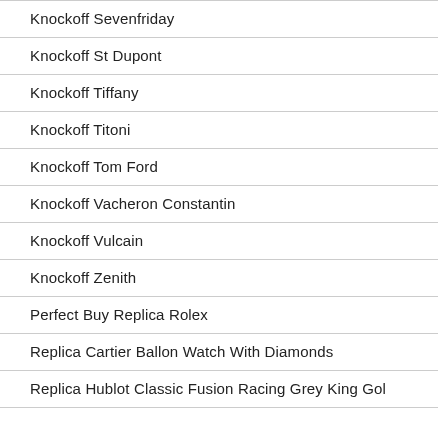Knockoff Sevenfriday
Knockoff St Dupont
Knockoff Tiffany
Knockoff Titoni
Knockoff Tom Ford
Knockoff Vacheron Constantin
Knockoff Vulcain
Knockoff Zenith
Perfect Buy Replica Rolex
Replica Cartier Ballon Watch With Diamonds
Replica Hublot Classic Fusion Racing Grey King Gol